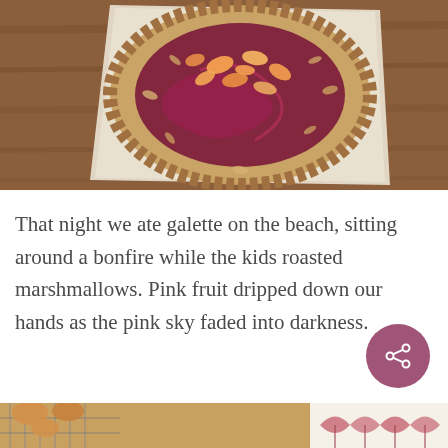[Figure (photo): Overhead view of a fruit galette with sliced peaches and dark berry compote on parchment paper on a wooden cutting board]
That night we ate galette on the beach, sitting around a bonfire while the kids roasted marshmallows. Pink fruit dripped down our hands as the pink sky faded into darkness.
[Figure (photo): Partial view of baked goods on a cooling rack with a decorative tile pattern visible at the bottom right edge]